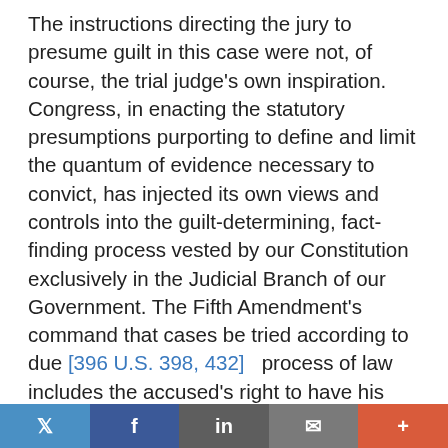The instructions directing the jury to presume guilt in this case were not, of course, the trial judge's own inspiration. Congress, in enacting the statutory presumptions purporting to define and limit the quantum of evidence necessary to convict, has injected its own views and controls into the guilt-determining, fact-finding process vested by our Constitution exclusively in the Judicial Branch of our Government. The Fifth Amendment's command that cases be tried according to due [396 U.S. 398, 432]   process of law includes the accused's right to have his case tried by a judge and a jury in a court of law without legislative constraint or interference. These statutory presumptions clearly violate the command of that Amendment. Congress can declare a crime, but it must leave the trial of that crime to the courts. See Leary v. United States, 395 U.S. 6, 55 (1969) (concurring in result); and United States v. Gainey, 380 U.S. 63, 84, 85
Twitter Facebook LinkedIn Email +